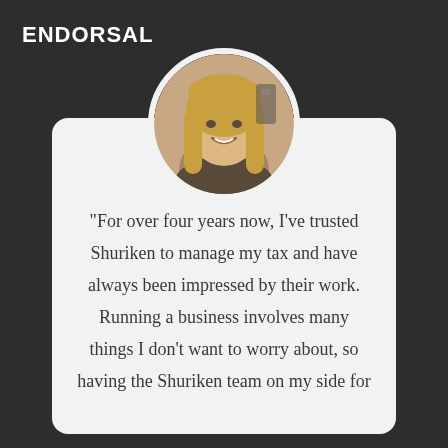ENDORSAL
[Figure (photo): Circular profile photo of a smiling blonde woman]
"For over four years now, I've trusted Shuriken to manage my tax and have always been impressed by their work. Running a business involves many things I don't want to worry about, so having the Shuriken team on my side for